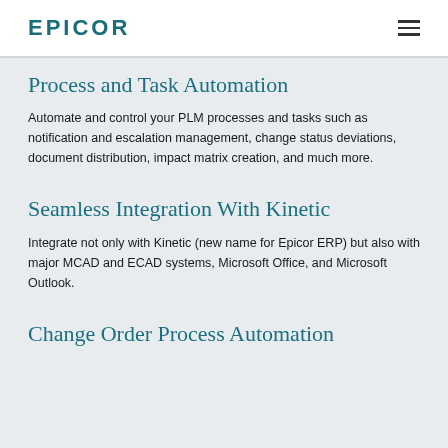EPICOR
Process and Task Automation
Automate and control your PLM processes and tasks such as notification and escalation management, change status deviations, document distribution, impact matrix creation, and much more.
Seamless Integration With Kinetic
Integrate not only with Kinetic (new name for Epicor ERP) but also with major MCAD and ECAD systems, Microsoft Office, and Microsoft Outlook.
Change Order Process Automation